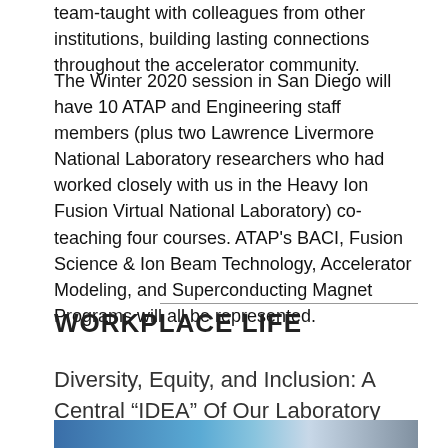team-taught with colleagues from other institutions, building lasting connections throughout the accelerator community.
The Winter 2020 session in San Diego will have 10 ATAP and Engineering staff members (plus two Lawrence Livermore National Laboratory researchers who had worked closely with us in the Heavy Ion Fusion Virtual National Laboratory) co-teaching four courses. ATAP's BACI, Fusion Science & Ion Beam Technology, Accelerator Modeling, and Superconducting Magnet Programs will all be represented.
WORKPLACE LIFE
Diversity, Equity, and Inclusion: A Central “IDEA” Of Our Laboratory
[Figure (photo): Photo showing people at an IDEA event with a sign or banner visible.]